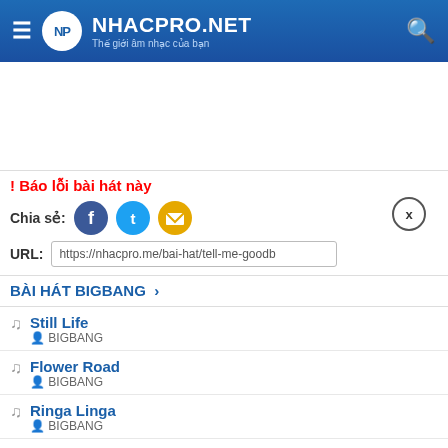NHACPRO.NET - Thế giới âm nhạc của bạn
! Báo lỗi bài hát này
Chia sẻ: [Facebook] [Twitter] [Email]
URL: https://nhacpro.me/bai-hat/tell-me-goodb
BÀI HÁT BIGBANG >
Still Life - BIGBANG
Flower Road - BIGBANG
Ringa Linga - BIGBANG
Eyes Nose Lips - BIGBANG
Just Look At Me - BIGBANG